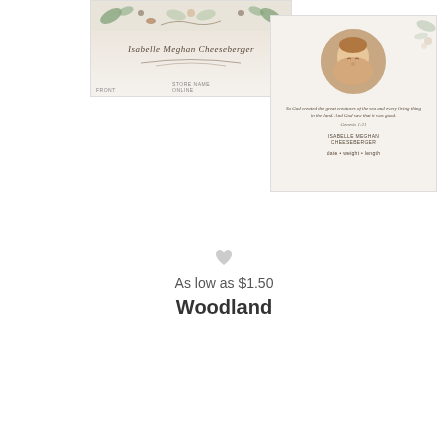[Figure (photo): Woodland birth announcement card front showing illustrated floral/botanical design with cursive name 'Isabelle Meghan Cheeseberger' and decorative border. Card back shows circular baby photo with Bible verse and birth details on cream background.]
[Figure (photo): Heart/favorite icon in light gray]
As low as $1.50
Woodland
[Figure (photo): Second birth announcement card design showing newborn baby sleeping, with confetti dot background, text 'welcome little one' in gold script, and 'Glenn Baker Meyers' with birth details below in serif font.]